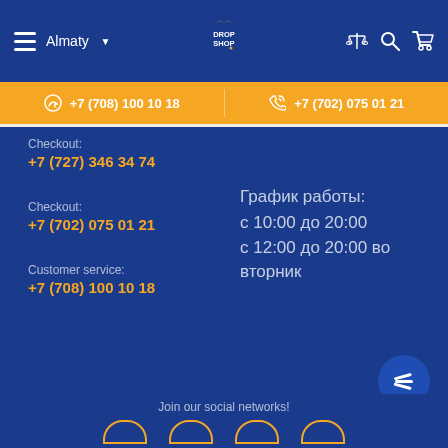Almaty — DROP SHOP
+7 (708) 100 10 18   +7 (702) 075 01 21
Checkout: +7 (727) 346 34 74
Checkout: +7 (702) 075 01 21
Customer service: +7 (708) 100 10 18
График работы:
с 10:00 до 20:00
с 12:00 до 20:00 во вторник
Join our social networks!